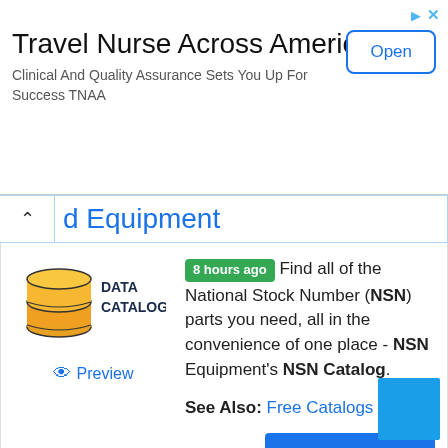[Figure (infographic): Advertisement banner for Travel Nurse Across America with Open button]
Travel Nurse Across America
Clinical And Quality Assurance Sets You Up For Success TNAA
d Equipment
[Figure (logo): Data Catalog logo with stacked orange/yellow discs and text DATA CATALOG]
8 hours ago Find all of the National Stock Number (NSN) parts you need, all in the convenience of one place - NSN Equipment's NSN Catalog.
Preview
See Also: Free Catalogs
Show details